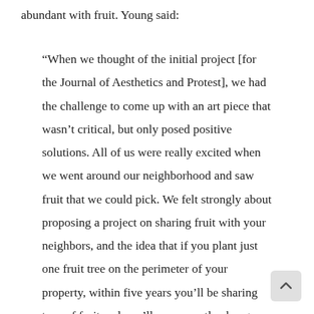abundant with fruit. Young said:
“When we thought of the initial project [for the Journal of Aesthetics and Protest], we had the challenge to come up with an art piece that wasn’t critical, but only posed positive solutions. All of us were really excited when we went around our neighborhood and saw fruit that we could pick. We felt strongly about proposing a project on sharing fruit with your neighbors, and the idea that if you plant just one fruit tree on the perimeter of your property, within five years you’ll be sharing tons of fruit and you’ll permanently change the way someone views your neighborhood. A lot of people have